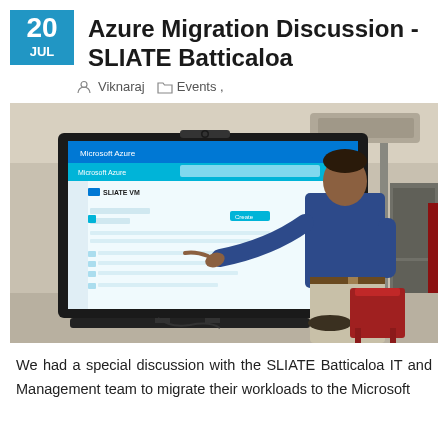Azure Migration Discussion - SLIATE Batticaloa
Viknaraj  Events ,
[Figure (photo): A man in a blue shirt pointing at a large screen displaying the Microsoft Azure portal with 'SLIATE VM' visible, presenting to an audience in what appears to be an IT lab or office setting.]
We had a special discussion with the SLIATE Batticaloa IT and Management team to migrate their workloads to the Microsoft